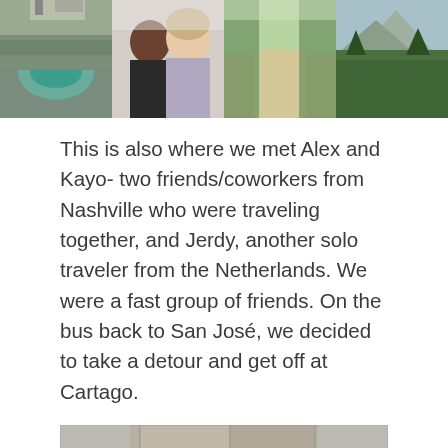[Figure (photo): Four travel photos in a row: volcanic crater with green water, couple selfie, forest path, mountain with trees]
This is also where we met Alex and Kayo- two friends/coworkers from Nashville who were traveling together, and Jerdy, another solo traveler from the Netherlands. We were a fast group of friends. On the bus back to San José, we decided to take a detour and get off at Cartago.
[Figure (photo): Stone arch with circular blue stained glass window at Cartago, Costa Rica]